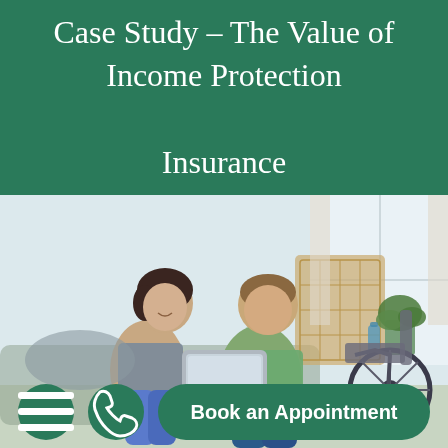Case Study – The Value of Income Protection Insurance
[Figure (photo): A couple (woman and man) sitting together looking at a tablet device, with a wheelchair visible in the background on the right side, in a bright living room setting.]